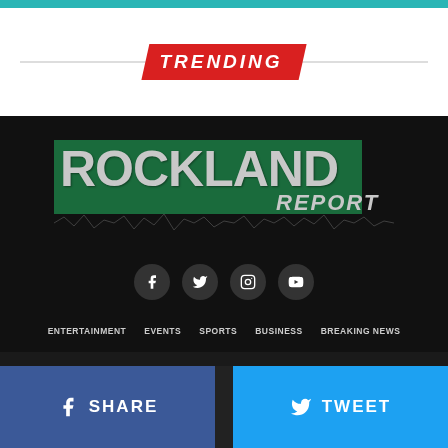TRENDING
[Figure (logo): Rockland Report logo — green rectangle with large white text ROCKLAND and italic cursive REPORT]
[Figure (infographic): Social media icons: Facebook, Twitter, Instagram, YouTube]
ENTERTAINMENT   EVENTS   SPORTS   BUSINESS   BREAKING NEWS
SHARE   TWEET